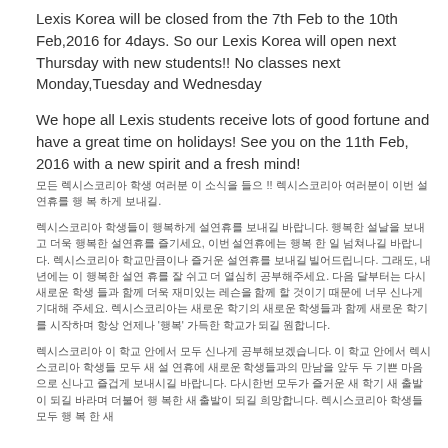Lexis Korea will be closed from the 7th Feb to the 10th Feb,2016 for 4days. So our Lexis Korea will open next Thursday with new students!! No classes next Monday,Tuesday and Wednesday
We hope all Lexis students receive lots of good fortune and have a great time on holidays! See you on the 11th Feb, 2016 with a new spirit and a fresh mind!
모든 렉시스코리아 학생 여러분 이 소식을 들으 !! 렉시스코리아 여러분이 이번 설연휴를 행 복 하게 보내길.
렉시스코리아 학생들이 행복하게 설연휴를 보내길 바랍니다. 행복한 설날을 보내고 더욱 행복한 설연휴를 즐기세요, 이번 설연휴에는 행복 한 일 넘쳐나길 바랍니다. 렉시스코리아 학교만큼이나 즐거운 설연휴를 보내길 빌어드립니다. 그래도, 내년에는 이 행복한 설연 휴를 잘 쉬고 더 열심히 공부해주세요. 다음 달부터는 다시 새로운 학생 들과 함께 더욱 재미있는 레슨을 함께 할 것이기 때문에 너무 신나게 기대해 주세요. 렉시스코리아는 새로운 학기의 새로운 학생들과 함께 새로운 학기를 시작하며 항상 언제나 '행복' 가득한 학교가 되길 원합니다.
렉시스코리아 이 학교 안에서 모두 신나게 공부해보겠습니다. 이 학교 안에서 렉시스코리아 학생들 모두 새 설 연휴에 새로운 학생들과의 만남을 앞두 두 기쁜 마음으로 신나고 즐겁게 보내시길 바랍니다. 다시한번 모두가 즐거운 새 학기 새 출발이 되길 바라며 더불어 행 복한 새 출발이 되길 희망합니다. 렉시스코리아 학생들 모두 행 복 한 새